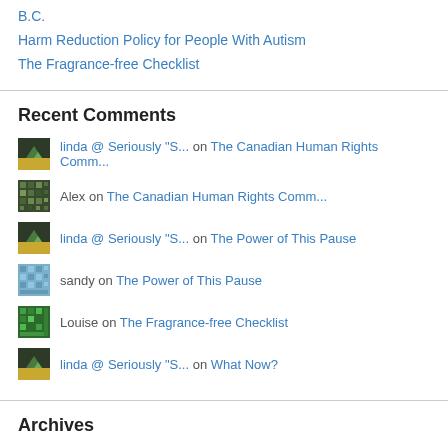B.C.
Harm Reduction Policy for People With Autism
The Fragrance-free Checklist
Recent Comments
linda @ Seriously "S... on The Canadian Human Rights Comm...
Alex on The Canadian Human Rights Comm...
linda @ Seriously "S... on The Power of This Pause
sandy on The Power of This Pause
Louise on The Fragrance-free Checklist
linda @ Seriously "S... on What Now?
Archives